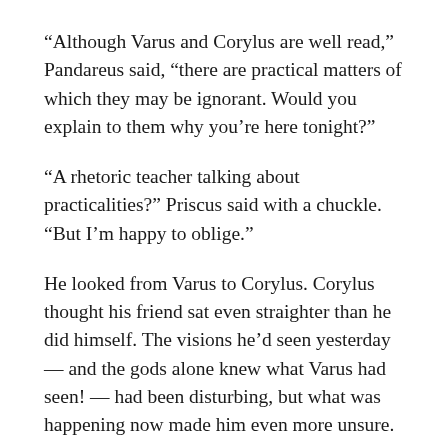“Although Varus and Corylus are well read,” Pandareus said, “there are practical matters of which they may be ignorant. Would you explain to them why you’re here tonight?”
“A rhetoric teacher talking about practicalities?” Priscus said with a chuckle. “But I’m happy to oblige.”
He looked from Varus to Corylus. Corylus thought his friend sat even straighter than he did himself. The visions he’d seen yesterday — and the gods alone knew what Varus had seen! — had been disturbing, but what was happening now made him even more unsure.
All his life, Corylus had been steeped in the myth-shrouded history of Carce. That had been